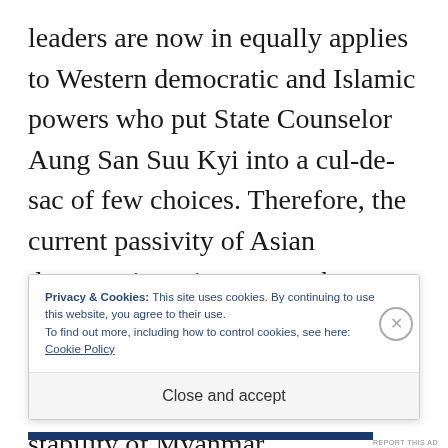leaders are now in equally applies to Western democratic and Islamic powers who put State Counselor Aung San Suu Kyi into a cul-de-sac of few choices. Therefore, the current passivity of Asian democratic nations must change by a collective response of breaking the cycle of violence that is threatening the long-term stability of Myanmar.
Privacy & Cookies: This site uses cookies. By continuing to use this website, you agree to their use.
To find out more, including how to control cookies, see here: Cookie Policy
Close and accept